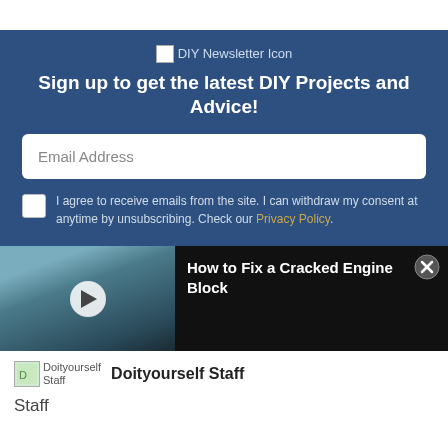[Figure (screenshot): DIY Newsletter icon placeholder image with label 'DIY Newsletter Icon']
Sign up to get the latest DIY Projects and Advice!
Email Address
I agree to receive emails from the site. I can withdraw my consent at anytime by unsubscribing. Check our Privacy Policy.
[Figure (screenshot): Video thumbnail showing a mechanic working in a garage with a play button overlay. Title: How to Fix a Cracked Engine Block]
How to Fix a Cracked Engine Block
[Figure (logo): Doityourself Staff logo/icon placeholder]
Doityourself Staff